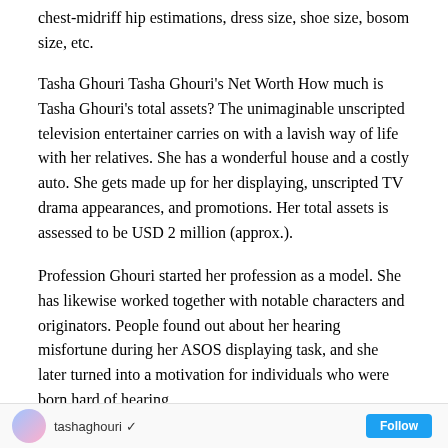chest-midriff hip estimations, dress size, shoe size, bosom size, etc.
Tasha Ghouri Tasha Ghouri's Net Worth How much is Tasha Ghouri's total assets? The unimaginable unscripted television entertainer carries on with a lavish way of life with her relatives. She has a wonderful house and a costly auto. She gets made up for her displaying, unscripted TV drama appearances, and promotions. Her total assets is assessed to be USD 2 million (approx.).
Profession Ghouri started her profession as a model. She has likewise worked together with notable characters and originators. People found out about her hearing misfortune during her ASOS displaying task, and she later turned into a motivation for individuals who were born hard of hearing.
[Figure (other): Social media profile footer bar showing a circular avatar, username 'tashaghouri' with a verification checkmark, and a follow button on the right]